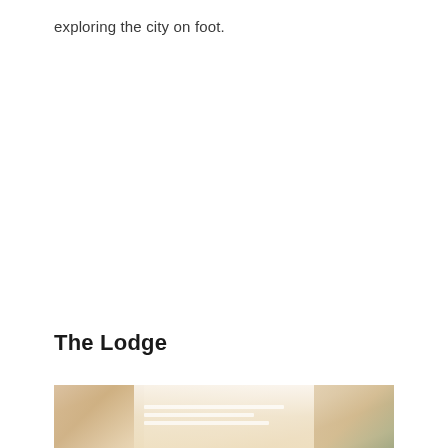exploring the city on foot.
The Lodge
[Figure (photo): A warm-toned photograph showing what appears to be lodge or hotel interior with papers/documents on a surface, warm amber and cream tones, partially visible at bottom of page.]